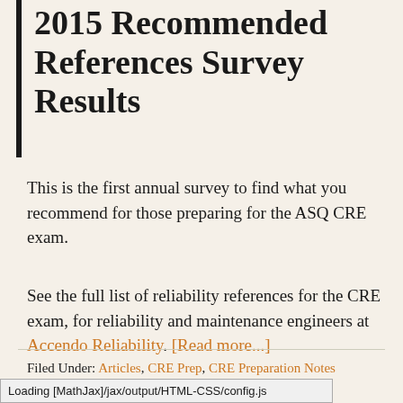2015 Recommended References Survey Results
This is the first annual survey to find what you recommend for those preparing for the ASQ CRE exam.
See the full list of reliability references for the CRE exam, for reliability and maintenance engineers at Accendo Reliability. [Read more...]
Filed Under: Articles, CRE Prep, CRE Preparation Notes
Tagged With: references
Loading [MathJax]/jax/output/HTML-CSS/config.js